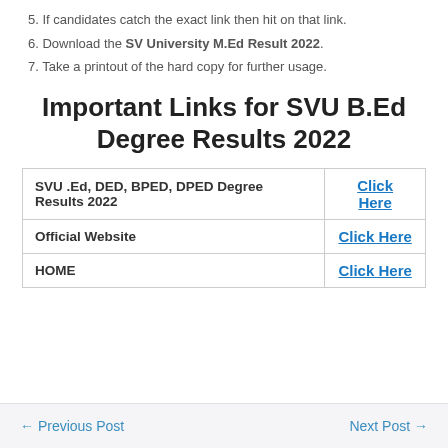5. If candidates catch the exact link then hit on that link.
6. Download the SV University M.Ed Result 2022.
7. Take a printout of the hard copy for further usage.
Important Links for SVU B.Ed Degree Results 2022
|  |  |
| --- | --- |
| SVU .Ed, DED, BPED, DPED Degree Results 2022 | Click Here |
| Official Website | Click Here |
| HOME | Click Here |
← Previous Post    Next Post →